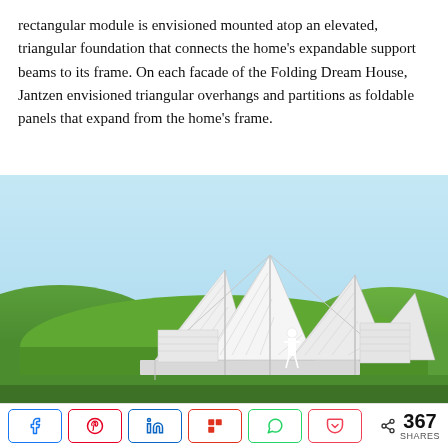rectangular module is envisioned mounted atop an elevated, triangular foundation that connects the home's expandable support beams to its frame. On each facade of the Folding Dream House, Jantzen envisioned triangular overhangs and partitions as foldable panels that expand from the home's frame.
[Figure (photo): Photograph of the Folding Dream House concept — a white architectural structure with triangular folding roof panels and louvered walls, set against a blue sky with green rolling hills in the background. A person in white stands inside the structure.]
< 367 SHARES (social share buttons: Facebook, Pinterest, LinkedIn, Flipboard, WhatsApp, Pocket)